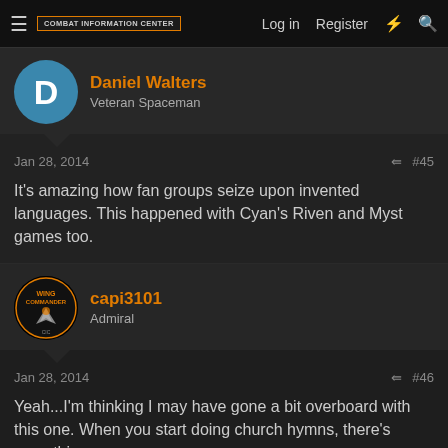COMBAT INFORMATION CENTER | Log in | Register
Daniel Walters
Veteran Spaceman
Jan 28, 2014  #45
It's amazing how fan groups seize upon invented languages. This happened with Cyan's Riven and Myst games too.
capi3101
Admiral
Jan 28, 2014  #46
Yeah...I'm thinking I may have gone a bit overboard with this one. When you start doing church hymns, there's something wrong...